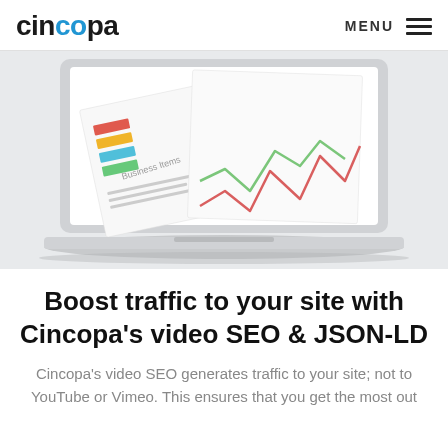cincopa   MENU
[Figure (photo): A laptop computer displaying a business report with colorful bar charts and line graphs (green and pink/red lines) on a white background. The screen shows business analytics data.]
Boost traffic to your site with Cincopa's video SEO & JSON-LD
Cincopa's video SEO generates traffic to your site; not to YouTube or Vimeo. This ensures that you get the most out